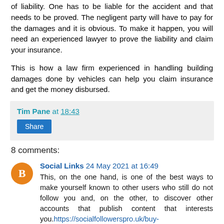of liability. One has to be liable for the accident and that needs to be proved. The negligent party will have to pay for the damages and it is obvious. To make it happen, you will need an experienced lawyer to prove the liability and claim your insurance.
This is how a law firm experienced in handling building damages done by vehicles can help you claim insurance and get the money disbursed.
Tim Pane at 18:43 [Share button]
8 comments:
Social Links 24 May 2021 at 16:49 — This, on the one hand, is one of the best ways to make yourself known to other users who still do not follow you and, on the other, to discover other accounts that publish content that interests you. https://socialfollowerspro.uk/buy-...